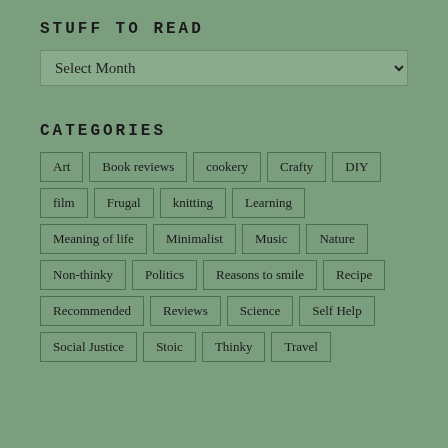STUFF TO READ
[Figure (screenshot): A dropdown/select box labeled 'Select Month']
CATEGORIES
Art
Book reviews
cookery
Crafty
DIY
film
Frugal
knitting
Learning
Meaning of life
Minimalist
Music
Nature
Non-thinky
Politics
Reasons to smile
Recipe
Recommended
Reviews
Science
Self Help
Social Justice
Stoic
Thinky
Travel